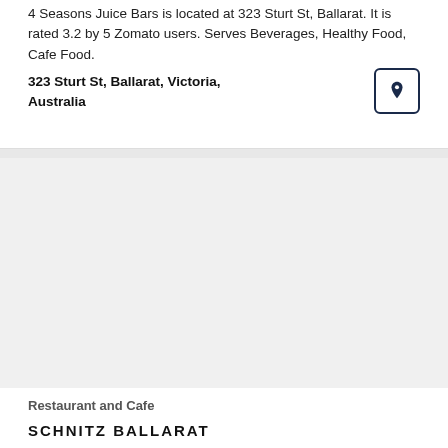4 Seasons Juice Bars is located at 323 Sturt St, Ballarat. It is rated 3.2 by 5 Zomato users. Serves Beverages, Healthy Food, Cafe Food.
323 Sturt St, Ballarat, Victoria, Australia
[Figure (illustration): Location/map pin icon in a bordered rounded square button]
[Figure (photo): Large restaurant photo placeholder area (blank/white)]
Restaurant and Cafe
SCHNITZ BALLARAT
Dedicated to making the best schnitzels in the world.